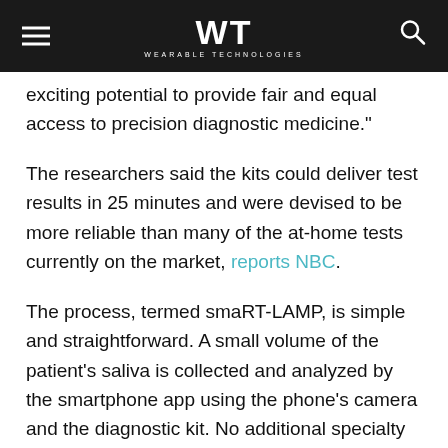WT WEARABLE TECHNOLOGIES
exciting potential to provide fair and equal access to precision diagnostic medicine.”
The researchers said the kits could deliver test results in 25 minutes and were devised to be more reliable than many of the at-home tests currently on the market, reports NBC.
The process, termed smaRT-LAMP, is simple and straightforward. A small volume of the patient’s saliva is collected and analyzed by the smartphone app using the phone’s camera and the diagnostic kit. No additional specialty materials are required.
LAMP is more sensitive than RT-PCR (Real-time polymerase chain reaction), which requires expensive equipment and